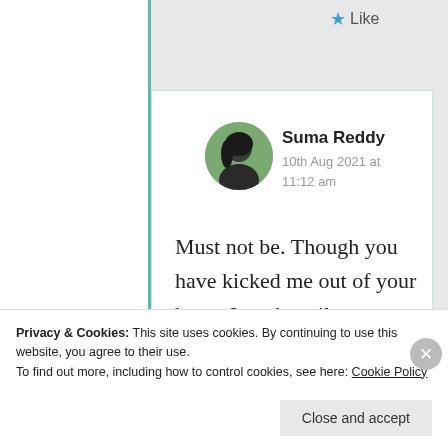★ Like
Suma Reddy
10th Aug 2021 at 11:12 am
Must not be. Though you have kicked me out of your heart, I am happily
Privacy & Cookies: This site uses cookies. By continuing to use this website, you agree to their use.
To find out more, including how to control cookies, see here: Cookie Policy
Close and accept